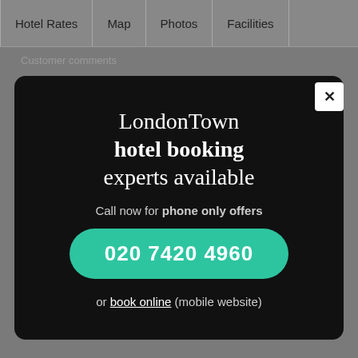Hotel Rates | Map | Photos | Facilities
Customer comments
[Figure (screenshot): Modal popup on dark background with LondonTown hotel booking experts text, phone number button, and book online link]
LondonTown hotel booking experts available
Call now for phone only offers
020 7420 4960
or book online (mobile website)